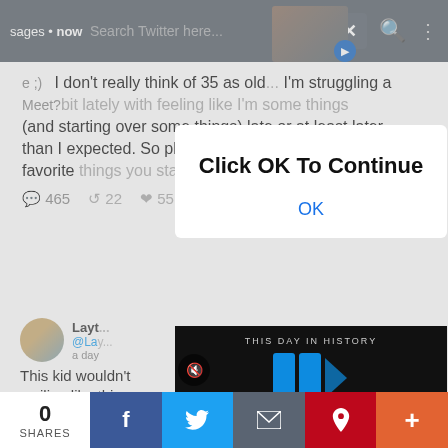sages • now | Search Twitter here... | X | 🔍 | ⋮
I don't think of 35 as old... I'm struggling a bit lately with feeling like I'm doing some things (and starting over some things) late or at least later than I expected. So please: tell me about your favorite things you started/accomplished after 35!
465  22  551
[Figure (screenshot): Modal dialog popup with bold text 'Click OK To Continue' and an 'OK' link in blue below]
Layth... @Lay... a day
This kid wouldn't stop smiling like this a...
[Figure (screenshot): Video player overlay showing 'THIS DAY IN HISTORY' with blue play icon on dark background, AUGUST label]
0 SHARES | f | 🐦 | ✉ | P | +